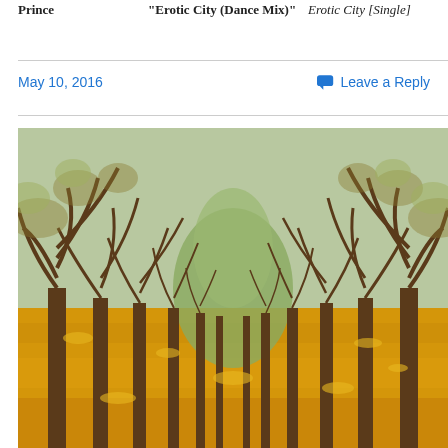Prince | "Erotic City (Dance Mix)" | Erotic City [Single]
May 10, 2016
Leave a Reply
[Figure (photo): An orchard pathway lined with rows of bare, gnarled trees on both sides. The ground is blanketed with golden-yellow fallen leaves creating a bright carpet. The trees form a natural tunnel perspective leading to a bright green background in the distance. Autumn scene.]